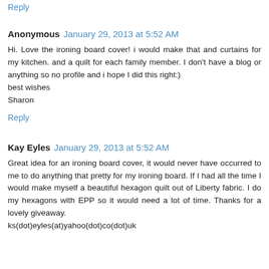Reply
Anonymous   January 29, 2013 at 5:52 AM
Hi. Love the ironing board cover! i would make that and curtains for my kitchen. and a quilt for each family member. I don't have a blog or anything so no profile and i hope I did this right:)
best wishes
Sharon
Reply
Kay Eyles   January 29, 2013 at 5:52 AM
Great idea for an ironing board cover, it would never have occurred to me to do anything that pretty for my ironing board. If I had all the time I would make myself a beautiful hexagon quilt out of Liberty fabric. I do my hexagons with EPP so it would need a lot of time. Thanks for a lovely giveaway.
ks(dot)eyles(at)yahoo(dot)co(dot)uk